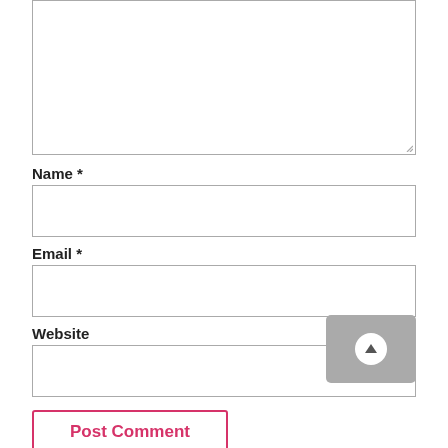[Figure (screenshot): Empty textarea input box with resize handle at bottom right]
Name *
[Figure (screenshot): Empty text input field for Name]
Email *
[Figure (screenshot): Empty text input field for Email]
Website
[Figure (screenshot): Empty text input field for Website with a gray scroll-to-top button overlay]
Post Comment